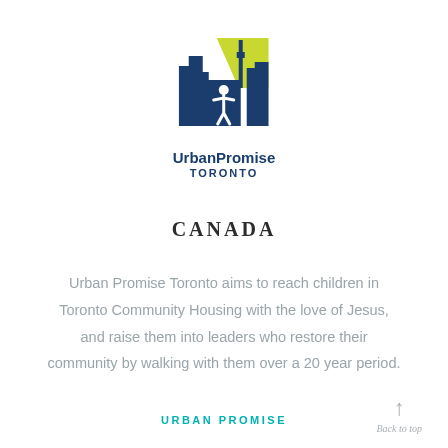[Figure (logo): UrbanPromise Toronto logo: dark blue stylized city skyline with CN Tower and a figure with arms raised, yellow-green accent at top right. Text below reads 'UrbanPromise TORONTO'.]
CANADA
Urban Promise Toronto aims to reach children in Toronto Community Housing with the love of Jesus, and raise them into leaders who restore their community by walking with them over a 20 year period.
URBAN PROMISE
Back to top